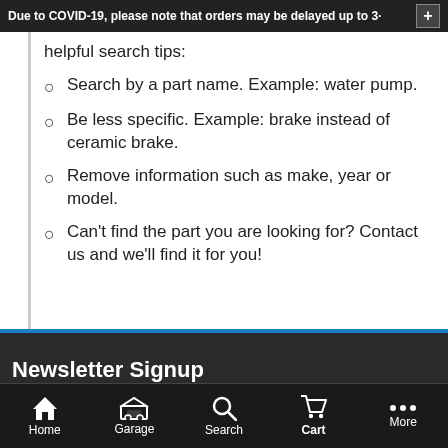Due to COVID-19, please note that orders may be delayed up to 3·
helpful search tips:
Search by a part name. Example: water pump.
Be less specific. Example: brake instead of ceramic brake.
Remove information such as make, year or model.
Can't find the part you are looking for? Contact us and we'll find it for you!
Newsletter Signup
Home  Garage  Search  Cart  More